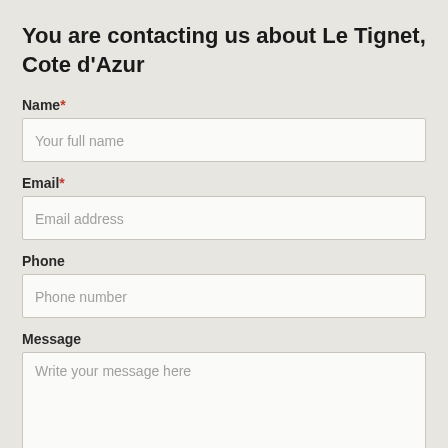You are contacting us about Le Tignet, Cote d'Azur
Name*
Your full name
Email*
Email address
Phone
Phone number
Message
Write your message here
Agree to Privacy / Data collection policy